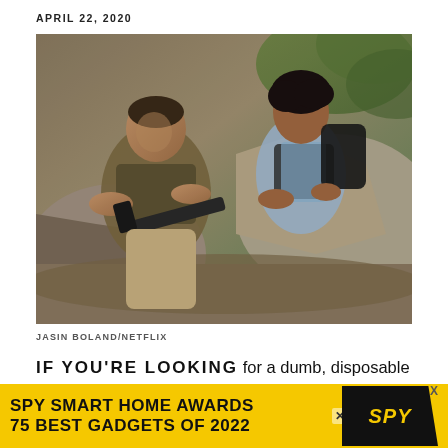APRIL 22, 2020
[Figure (photo): Two men in a rocky outdoor setting: on the left, a muscular man in military tactical gear holding a rifle; on the right, a younger man in a light blue shirt with a tactical vest, leaning toward him. Both appear tense. Rocky terrain and foliage in background.]
JASIN BOLAND/NETFLIX
IF YOU'RE LOOKING for a dumb, disposable action movie in which Chris Hemsworth
[Figure (advertisement): Yellow advertisement banner: SPY SMART HOME AWARDS / 75 BEST GADGETS OF 2022, with SPY logo in black on right side]